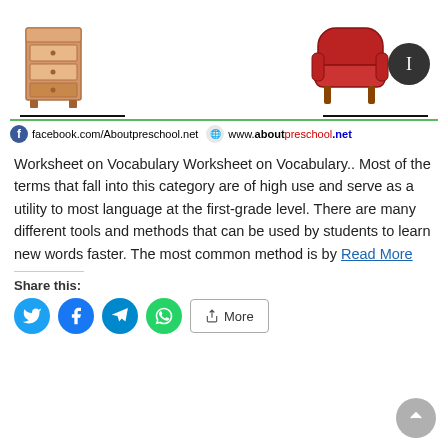[Figure (illustration): Illustration of a wooden dresser/filing cabinet with three drawers on the left, and a red armchair with a dark circular badge/icon on the right]
facebook.com/Aboutpreschool.net   www.aboutpreschool.net
Worksheet on Vocabulary Worksheet on Vocabulary.. Most of the terms that fall into this category are of high use and serve as a utility to most language at the first-grade level. There are many different tools and methods that can be used by students to learn new words faster. The most common method is by Read More
Share this:
[Figure (infographic): Social share buttons: Twitter, Facebook, Telegram, WhatsApp, and More button]